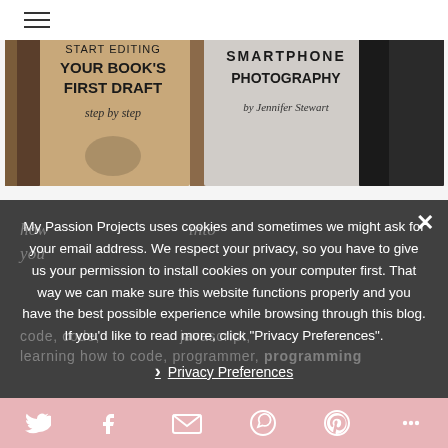[Figure (screenshot): Two book covers visible at the top: left one shows 'START EDITING YOUR BOOK'S FIRST DRAFT step by step', right one shows 'SMARTPHONE PHOTOGRAPHY by Jennifer Stewart']
My Passion Projects uses cookies and sometimes we might ask for your email address. We respect your privacy, so you have to give us your permission to install cookies on your computer first. That way we can make sure this website functions properly and you have the best possible experience while browsing through this blog. If you'd like to read more, click "Privacy Preferences".
› Privacy Preferences
[Figure (screenshot): Social sharing bar at the bottom with icons for Twitter, Facebook, Email, WhatsApp, Pinterest, and More (share)]